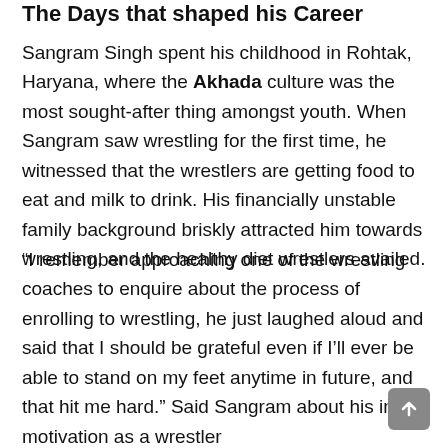The Days that shaped his Career
Sangram Singh spent his childhood in Rohtak, Haryana, where the Akhada culture was the most sought-after thing amongst youth. When Sangram saw wrestling for the first time, he witnessed that the wrestlers are getting food to eat and milk to drink. His financially unstable family background briskly attracted him towards wrestling, and the healthy diet wrestlers availed.
“I remember approaching one of the wrestling coaches to enquire about the process of enrolling to wrestling, he just laughed aloud and said that I should be grateful even if I’ll ever be able to stand on my feet anytime in future, and that hit me hard.” Said Sangram about his initial motivation as a wrestler